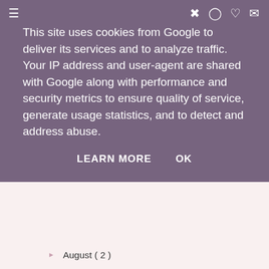This site uses cookies from Google to deliver its services and to analyze traffic. Your IP address and user-agent are shared with Google along with performance and security metrics to ensure quality of service, generate usage statistics, and to detect and address abuse.
LEARN MORE   OK
August ( 2 )
July ( 1 )
June ( 3 )
May ( 3 )
April ( 3 )
March ( 4 )
The Marathon Diaries #5: 4 weeks to go...
These shadows of mine
The Marathon Diaries #4: 6 weeks to go...
Travelling through travels
February ( 4 )
January ( 1 )
2016 ( 7 )
2015 ( 11 )
2013 ( 1 )